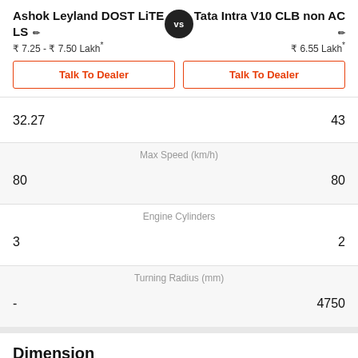Ashok Leyland DOST LiTE LS vs Tata Intra V10 CLB non AC
₹ 7.25 - ₹ 7.50 Lakh*
₹ 6.55 Lakh*
| Ashok Leyland DOST LiTE LS |  | Tata Intra V10 CLB non AC |
| --- | --- | --- |
| 32.27 |  | 43 |
|  | Max Speed (km/h) |  |
| 80 |  | 80 |
|  | Engine Cylinders |  |
| 3 |  | 2 |
|  | Turning Radius (mm) |  |
| - |  | 4750 |
Dimension
Overall Length (mm)
4485
4282